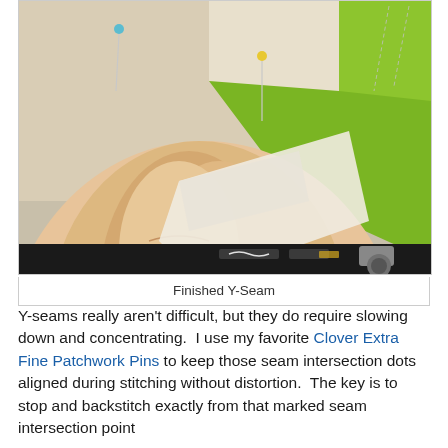[Figure (photo): Close-up photo of hands handling quilt fabric pieces with green and white triangles, pinned together. A rotary cutter is visible at the bottom edge. Shows a finished Y-Seam in progress.]
Finished Y-Seam
Y-seams really aren't difficult, but they do require slowing down and concentrating.  I use my favorite Clover Extra Fine Patchwork Pins to keep those seam intersection dots aligned during stitching without distortion.  The key is to stop and backstitch exactly from that marked seam intersection point